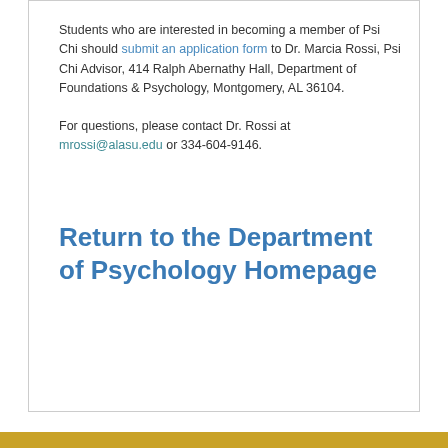Students who are interested in becoming a member of Psi Chi should submit an application form to Dr. Marcia Rossi, Psi Chi Advisor, 414 Ralph Abernathy Hall, Department of Foundations & Psychology, Montgomery, AL 36104.
For questions, please contact Dr. Rossi at mrossi@alasu.edu or 334-604-9146.
Return to the Department of Psychology Homepage